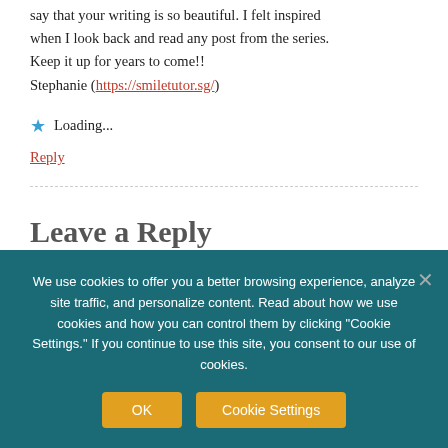say that your writing is so beautiful. I felt inspired when I look back and read any post from the series. Keep it up for years to come!! Stephanie (https://smiletutor.sg/)
Loading...
Reply
Leave a Reply
We use cookies to offer you a better browsing experience, analyze site traffic, and personalize content. Read about how we use cookies and how you can control them by clicking "Cookie Settings." If you continue to use this site, you consent to our use of cookies.